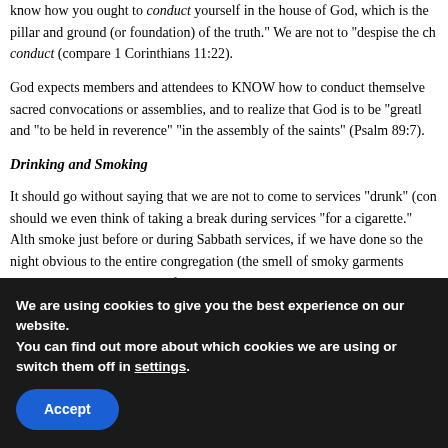know how you ought to conduct yourself in the house of God, which is the pillar and ground (or foundation) of the truth." We are not to "despise the ch... conduct (compare 1 Corinthians 11:22).
God expects members and attendees to KNOW how to conduct themselves in sacred convocations or assemblies, and to realize that God is to be "greatly... and "to be held in reverence" "in the assembly of the saints" (Psalm 89:7).
Drinking and Smoking
It should go without saying that we are not to come to services "drunk" (con... should we even think of taking a break during services "for a cigarette." Alth... smoke just before or during Sabbath services, if we have done so the night... obvious to the entire congregation (the smell of smoky garments cannot be... person recovering from drunkenness).
Living in Sin
We are using cookies to give you the best experience on our website.
You can find out more about which cookies we are using or switch them off in settings.